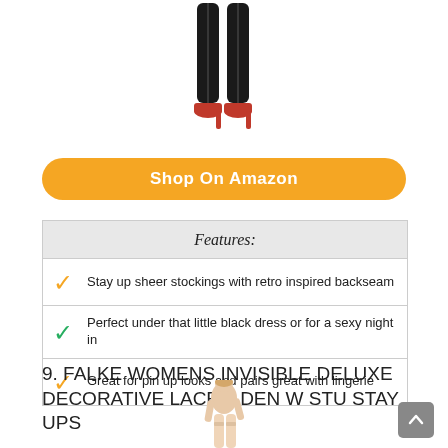[Figure (photo): Bottom half of a woman's legs wearing black sheer stockings with backseam and red high heels]
Shop On Amazon
Features:
Stay up sheer stockings with retro inspired backseam
Perfect under that little black dress or for a sexy night in
Great for pin up looks and pairs great with lingerie
9. FALKE WOMENS INVISIBLE DELUXE DECORATIVE LACE 8 DEN W STU STAY UPS
[Figure (photo): Woman modeling nude/beige stay-up stockings, cropped view showing torso and legs]